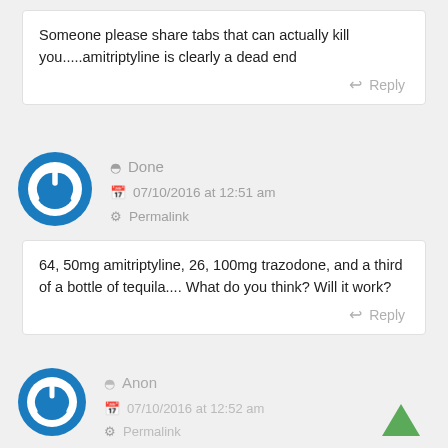Someone please share tabs that can actually kill you.....amitriptyline is clearly a dead end
Reply
[Figure (logo): Blue circular power button icon avatar for user Done]
Done
07/10/2016 at 12:51 am
Permalink
64, 50mg amitriptyline, 26, 100mg trazodone, and a third of a bottle of tequila.... What do you think? Will it work?
Reply
[Figure (logo): Blue circular power button icon avatar for user Anon]
Anon
07/10/2016 at 12:52 am
Permalink